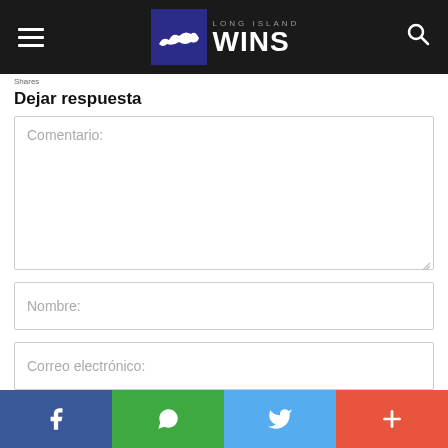Long Island Wins – navigation header
Shares
Dejar respuesta
Comentario:
Nombre:
Correo electrónico:
Social share bar: Facebook, WhatsApp, Twitter, Plus